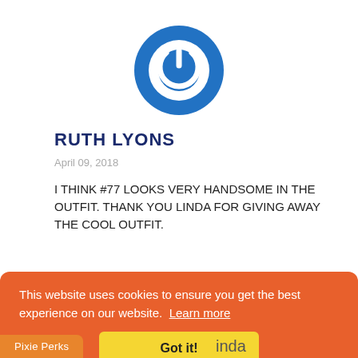[Figure (logo): Blue circular power/refresh icon logo on white background]
RUTH LYONS
April 09, 2018
I THINK #77 LOOKS VERY HANDSOME IN THE OUTFIT. THANK YOU LINDA FOR GIVING AWAY THE COOL OUTFIT.
This website uses cookies to ensure you get the best experience on our website. Learn more
Got it!
Pixie Perks